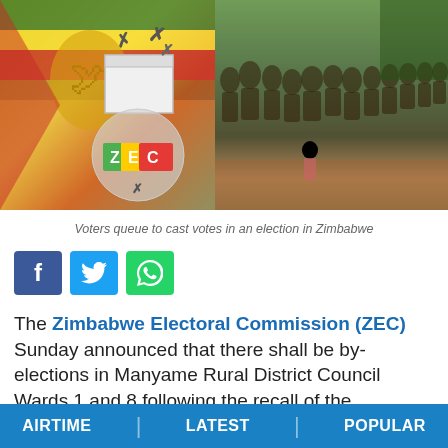[Figure (photo): Composite image: left side shows Zimbabwe flag and ZEC (Zimbabwe Electoral Commission) logo with ballot box and X marks; right side shows a long queue of voters waiting to cast votes in a Zimbabwe election, outdoors along a dirt path with trees in background.]
Voters queue to cast votes in an election in Zimbabwe
[Figure (infographic): Social media share buttons: Facebook (blue), Twitter (light blue), WhatsApp (green)]
The Zimbabwe Electoral Commission (ZEC) Sunday announced that there shall be by-elections in Manyame Rural District Council Wards 1 and 8 following the recall of the incumbent councillors
AIRTIME | LATEST | POPULAR